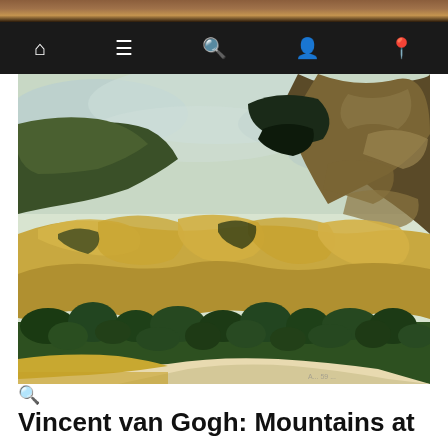Navigation bar with home, menu, search, account, and location icons
[Figure (photo): Van Gogh painting 'Mountains at Saint-Rémy' showing swirling mountains, trees, and landscape in Van Gogh's characteristic post-impressionist style with bold brushstrokes in greens, yellows, blues and earth tones]
Vincent van Gogh: Mountains at